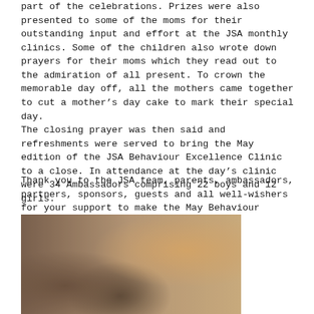part of the celebrations. Prizes were also presented to some of the moms for their outstanding input and effort at the JSA monthly clinics. Some of the children also wrote down prayers for their moms which they read out to the admiration of all present. To crown the memorable day off, all the mothers came together to cut a mother's day cake to mark their special day.
The closing prayer was then said and refreshments were served to bring the May edition of the JSA Behaviour Excellence Clinic to a close. In attendance at the day's clinic were 34 Ambassadors comprising 22 boys and 12 girls.
Thank you to the JSA team, parents, ambassadors, partners, sponsors, guests and all well-wishers for your support to make the May Behaviour Excellence Clinic a success.
[Figure (photo): Photo of people sitting around a wooden table indoors, appearing to be in conversation. Three people visible, one adult in a brown patterned shirt and two younger individuals in white clothing. Indoor setting with wooden chairs and partitions in the background.]